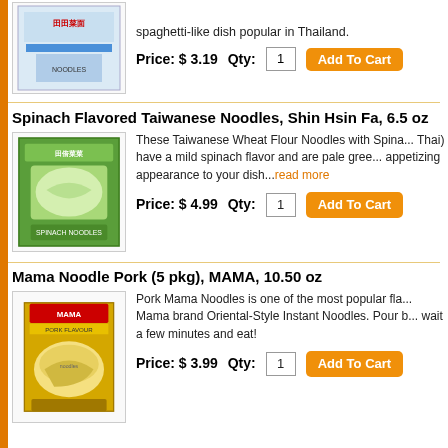spaghetti-like dish popular in Thailand.
Price: $ 3.19   Qty: 1   Add To Cart
[Figure (photo): Product image of Thai noodles package]
Spinach Flavored Taiwanese Noodles, Shin Hsin Fa, 6.5 oz
These Taiwanese Wheat Flour Noodles with Spinach (also known as Pad Thai) have a mild spinach flavor and are pale green in color, lending an appetizing appearance to your dish...read more
Price: $ 4.99   Qty: 1   Add To Cart
[Figure (photo): Product image of Spinach Flavored Taiwanese Noodles green package]
Mama Noodle Pork (5 pkg), MAMA, 10.50 oz
Pork Mama Noodles is one of the most popular flavors from the well-known Mama brand Oriental-Style Instant Noodles. Pour boiling water into the bowl, wait a few minutes and eat!
Price: $ 3.99   Qty: 1   Add To Cart
[Figure (photo): Product image of MAMA Pork Flavour instant noodles package]